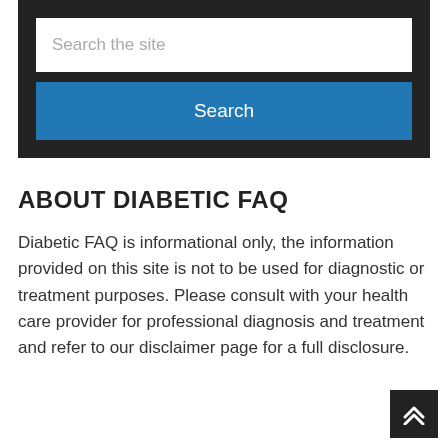[Figure (screenshot): Search box with text input field showing placeholder 'Search the site' and a blue 'Search' button below, all within a dark/black background container]
ABOUT DIABETIC FAQ
Diabetic FAQ is informational only, the information provided on this site is not to be used for diagnostic or treatment purposes. Please consult with your health care provider for professional diagnosis and treatment and refer to our disclaimer page for a full disclosure.